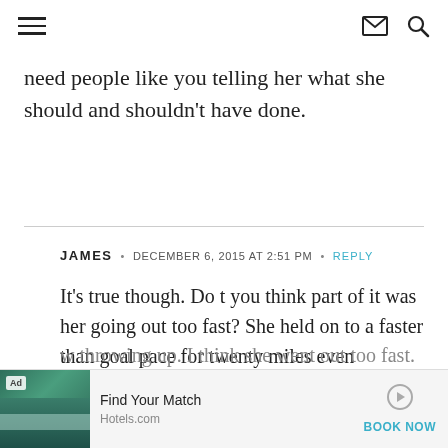Navigation header with hamburger menu, mail icon, and search icon
need people like you telling her what she should and shouldn't have done.
JAMES • DECEMBER 6, 2015 AT 2:51 PM • REPLY
It's true though. Do t you think part of it was her going out too fast? She held on to a faster than goal pace for twenty miles even w throwing up. I think she went out too fast.
[Figure (screenshot): Advertisement banner: Hotels.com 'Find Your Match' ad with tropical pool image, play button, and BOOK NOW link]